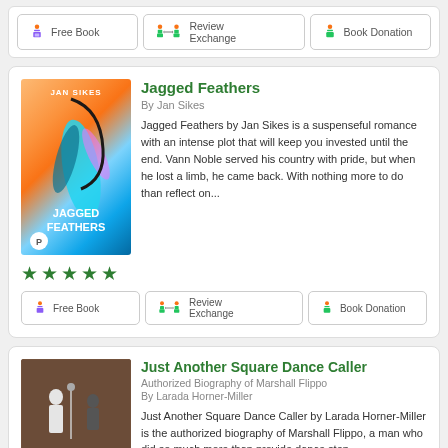[Figure (screenshot): Top navigation bar with three buttons: Free Book (purple book icon), Review Exchange (two person icons with arrows and book), Book Donation (person with book icon)]
Jagged Feathers
By Jan Sikes
Jagged Feathers by Jan Sikes is a suspenseful romance with an intense plot that will keep you invested until the end. Vann Noble served his country with pride, but when he lost a limb, he came back. With nothing more to do than reflect on...
[Figure (illustration): Book cover for Jagged Feathers by Jan Sikes — colorful cover with feathers, orange/teal gradient background, author name Jan Sikes at top, title Jagged Feathers at bottom, small P logo badge]
★★★★★
[Figure (screenshot): Three action buttons: Free Book, Review Exchange, Book Donation]
Just Another Square Dance Caller
Authorized Biography of Marshall Flippo
By Larada Horner-Miller
Just Another Square Dance Caller by Larada Horner-Miller is the authorized biography of Marshall Flippo, a man who did so much more than provide dance step...
[Figure (photo): Book cover for Just Another Square Dance Caller — black and white photo of people square dancing, title in yellow/orange text at bottom]